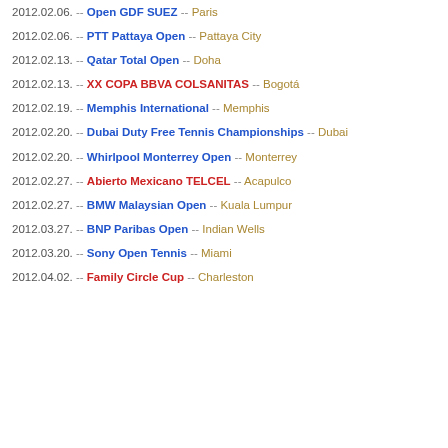2012.02.06. -- Open GDF SUEZ -- Paris
2012.02.06. -- PTT Pattaya Open -- Pattaya City
2012.02.13. -- Qatar Total Open -- Doha
2012.02.13. -- XX COPA BBVA COLSANITAS -- Bogotá
2012.02.19. -- Memphis International -- Memphis
2012.02.20. -- Dubai Duty Free Tennis Championships -- Dubai
2012.02.20. -- Whirlpool Monterrey Open -- Monterrey
2012.02.27. -- Abierto Mexicano TELCEL -- Acapulco
2012.02.27. -- BMW Malaysian Open -- Kuala Lumpur
2012.03.27. -- BNP Paribas Open -- Indian Wells
2012.03.20. -- Sony Open Tennis -- Miami
2012.04.02. -- Family Circle Cup -- Charleston